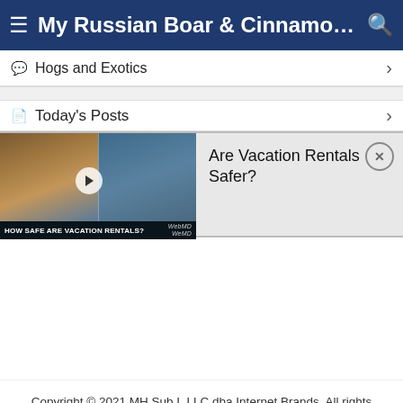My Russian Boar & Cinnamon D...
Hogs and Exotics
Today's Posts
[Figure (screenshot): Video thumbnail showing two men in an interview setting with text overlay 'HOW SAFE ARE VACATION RENTALS?' and WebMD logo]
Are Vacation Rentals Safer?
Copyright © 2021 MH Sub I, LLC dba Internet Brands. All rights reserved. Use of this site indicates your consent to the Terms of Use.